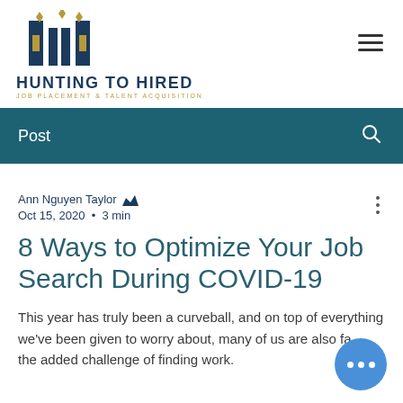[Figure (logo): Hunting to Hired logo — two pillar shapes with gold diamond accents above bold navy text HUNTING TO HIRED and gold subtitle JOB PLACEMENT & TALENT ACQUISITION]
Post
Ann Nguyen Taylor 👑
Oct 15, 2020  •  3 min
8 Ways to Optimize Your Job Search During COVID-19
This year has truly been a curveball, and on top of everything we've been given to worry about, many of us are also fa... the added challenge of finding work.